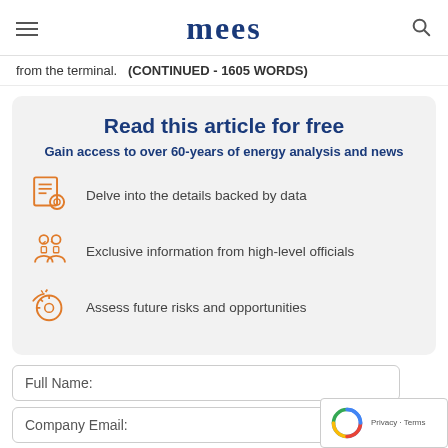mees
from the terminal.   (CONTINUED - 1605 WORDS)
Read this article for free
Gain access to over 60-years of energy analysis and news
Delve into the details backed by data
Exclusive information from high-level officials
Assess future risks and opportunities
Full Name:
Company Email: